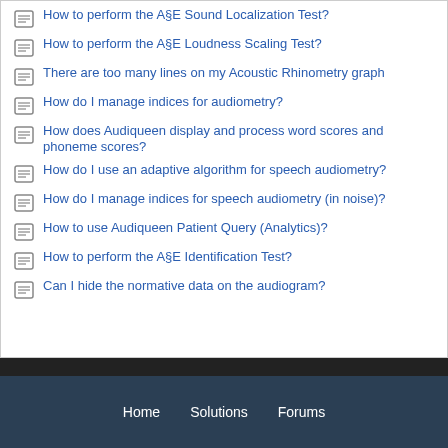How to perform the A§E Sound Localization Test?
How to perform the A§E Loudness Scaling Test?
There are too many lines on my Acoustic Rhinometry graph
How do I manage indices for audiometry?
How does Audiqueen display and process word scores and phoneme scores?
How do I use an adaptive algorithm for speech audiometry?
How do I manage indices for speech audiometry (in noise)?
How to use Audiqueen Patient Query (Analytics)?
How to perform the A§E Identification Test?
Can I hide the normative data on the audiogram?
Home   Solutions   Forums